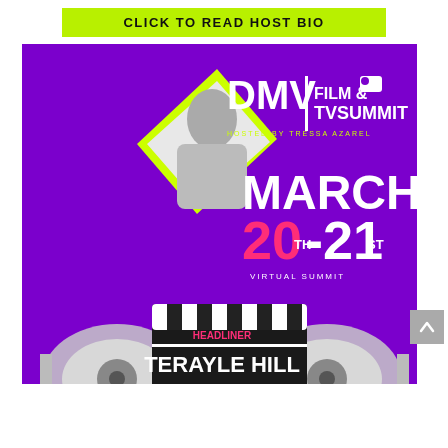CLICK TO READ HOST BIO
[Figure (illustration): DMV Film & TV Summit promotional flyer featuring Terayle Hill as Headliner Producer & Actor. Purple background with neon green diamond frame around a black-and-white photo of the speaker. Event date March 20-21 Virtual Summit, hosted by Tressa Azarel. Film clapper board and film reels at the bottom.]